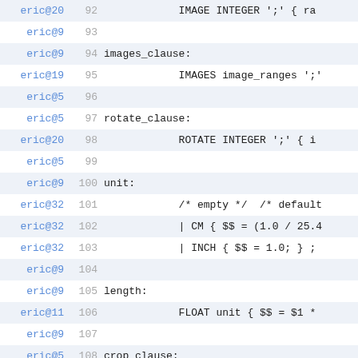Code listing lines 92-116 showing grammar rules: images_clause, rotate_clause, unit, length, crop_clause, orientation with references and line numbers
eric@20  92    IMAGE INTEGER ';' { ra
eric@9   93
eric@9   94  images_clause:
eric@19  95          IMAGES image_ranges ';'
eric@5   96
eric@5   97  rotate_clause:
eric@20  98          ROTATE INTEGER ';' { i
eric@5   99
eric@9   100  unit:
eric@32  101          /* empty */  /* default
eric@32  102          | CM { $$ = (1.0 / 25.4
eric@32  103          | INCH { $$ = 1.0; } ;
eric@9   104
eric@9   105  length:
eric@11  106          FLOAT unit { $$ = $1 *
eric@9   107
eric@5   108  crop_clause:
eric@9   109          CROP PAGE_SIZE ';'
eric@9   110          | CROP PAGE_SIZE orient
eric@9   111          | CROP length ',' lengt
eric@9   112          | CROP length ',' lengt
eric@9   113
eric@9   114  orientation:
eric@32  115          PORTRAIT { $$ = 0; }
eric@32  116          | LANDSCAPE { $$ = 1;